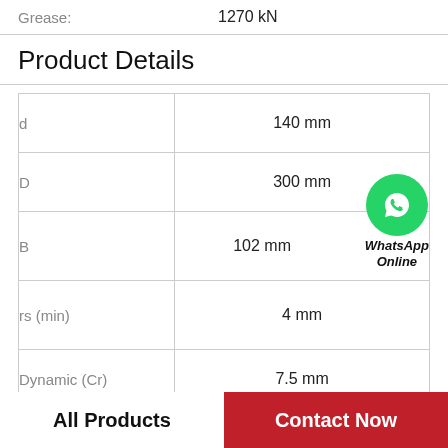Grease:   1270 kN
Product Details
| Parameter | Value |
| --- | --- |
| d | 140 mm |
| D | 300 mm |
| B | 102 mm |
| rs (min) | 4 mm |
| Dynamic (Cr) | 7.5 mm |
| Static (Cor) | 13.9 mm |
| P | 903 kN |
All Products
Contact Now